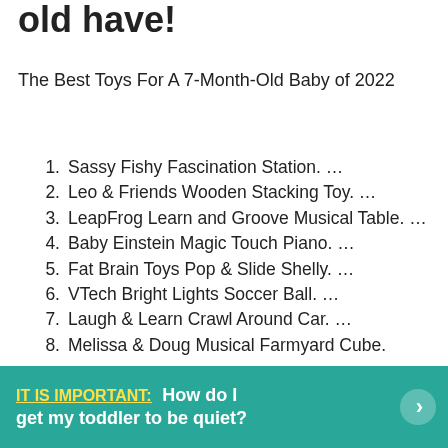old have!
The Best Toys For A 7-Month-Old Baby of 2022
1. Sassy Fishy Fascination Station. …
2. Leo & Friends Wooden Stacking Toy. …
3. LeapFrog Learn and Groove Musical Table. …
4. Baby Einstein Magic Touch Piano. …
5. Fat Brain Toys Pop & Slide Shelly. …
6. VTech Bright Lights Soccer Ball. …
7. Laugh & Learn Crawl Around Car. …
8. Melissa & Doug Musical Farmyard Cube.
IT IS IMPORTANT: How do I get my toddler to be quiet?